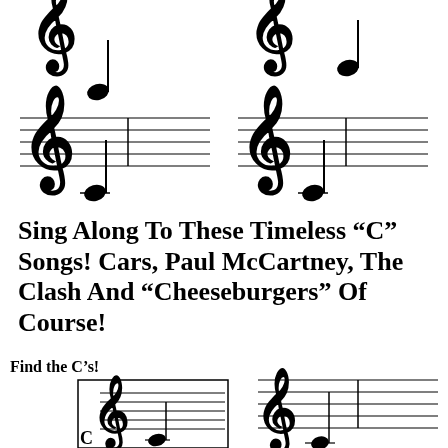[Figure (illustration): Four musical staff snippets with treble clef and a quarter note (C note below the staff), arranged in a 2x2 grid at the top of the page.]
Sing Along To These Timeless “C” Songs! Cars, Paul McCartney, The Clash And “Cheeseburgers” Of Course!
[Figure (illustration): Bottom left: 'Find the C's!' label with a boxed musical staff showing treble clef and a C note. Bottom right: musical staff with treble clef and a C note (without box).]